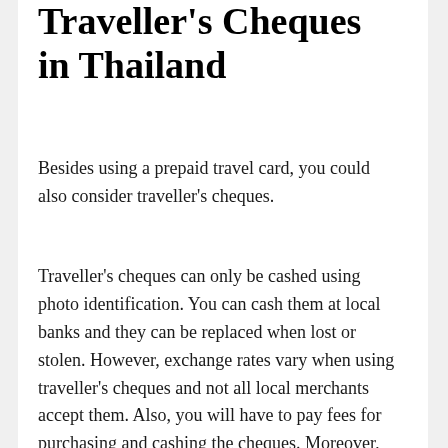Traveller's Cheques in Thailand
Besides using a prepaid travel card, you could also consider traveller's cheques.
Traveller's cheques can only be cashed using photo identification. You can cash them at local banks and they can be replaced when lost or stolen. However, exchange rates vary when using traveller's cheques and not all local merchants accept them. Also, you will have to pay fees for purchasing and cashing the cheques. Moreover, most institutions that accept them will charge an extra commission when cashing them.